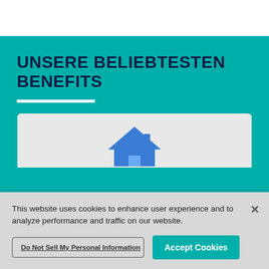UNSERE BELIEBTESTEN BENEFITS
[Figure (illustration): Blue house icon on a light grey card background]
This website uses cookies to enhance user experience and to analyze performance and traffic on our website.
Do Not Sell My Personal Information
Accept Cookies